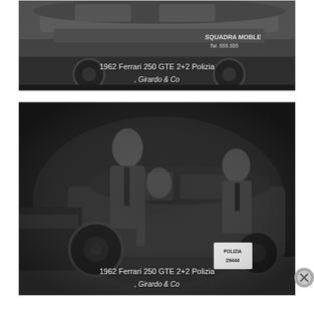[Figure (photo): Black and white photograph of a 1962 Ferrari 250 GTE 2+2 Polizia police car. The side of the car shows text reading 'SQUADRA MOBLE Tel. 555.555'. White overlay text on the photo reads '1962 Ferrari 250 GTE 2+2 Polizia' and ', Girardo & Co'.]
[Figure (photo): Black and white nighttime photograph showing two men in suits standing near a 1962 Ferrari 250 GTE 2+2 Polizia. One man is on the left, another on the right near the car. A person is visible inside the car. The car has a police license plate reading 'POLIZIA 29444'. White overlay text reads '1962 Ferrari 250 GTE 2+2 Polizia' and ', Girardo & Co'.]